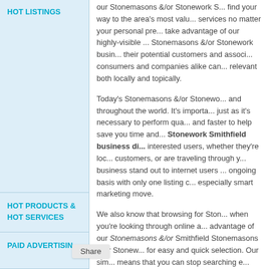HOT LISTINGS
our Stonemasons &/or Stonework S... find your way to the area's most valu... services no matter your personal pre... take advantage of our highly-visible ... Stonemasons &/or Stonework busin... their potential customers and associ... consumers and companies alike can... relevant both locally and topically.

Today's Stonemasons &/or Stonewo... and throughout the world. It's import... just as it's necessary to perform qua... and faster to help save you time and... Stonework Smithfield business di... interested users, whether they're loc... customers, or are traveling through y... business stand out to internet users ... ongoing basis with only one listing c... especially smart marketing move.

We also know that browsing for Ston... when you're looking through online a... advantage of our Stonemasons &/or... Smithfield Stonemasons &/or Stonew... for easy and quick selection. Our sim... means that you can stop searching e... Stonework source for your needs -or... in other suburb or state, you can get... including the Stonemasons &/or Sto... purchasing, and networking has nev... use our directory for all your online p...
HOT PRODUCTS & HOT SERVICES
PAID ADVERTISING